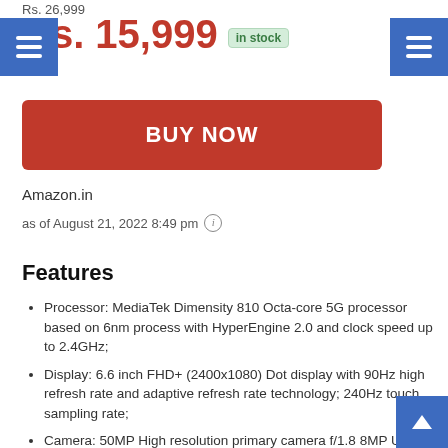Rs. 26,999
Rs. 15,999 in stock
[Figure (other): Red BUY NOW button]
Amazon.in
as of August 21, 2022 8:49 pm (i)
Features
Processor: MediaTek Dimensity 810 Octa-core 5G processor based on 6nm process with HyperEngine 2.0 and clock speed up to 2.4GHz;
Display: 6.6 inch FHD+ (2400x1080) Dot display with 90Hz high refresh rate and adaptive refresh rate technology; 240Hz touch sampling rate;
Camera: 50MP High resolution primary camera f/1.8 8MP Ultra-wide sensor| 16 MP Front camera
Battery: 5000mAh battery with 33W Pro fast charging